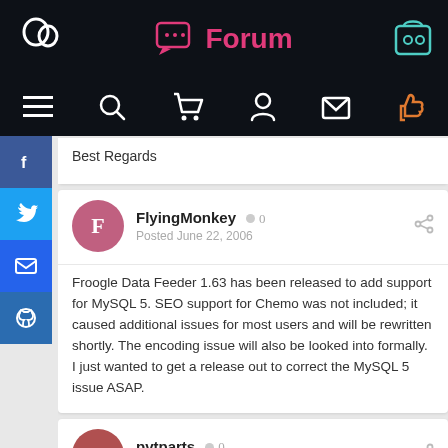Forum
Best Regards
FlyingMonkey  0
Posted June 22, 2006
Froogle Data Feeder 1.63 has been released to add support for MySQL 5. SEO support for Chemo was not included; it caused additional issues for most users and will be rewritten shortly. The encoding issue will also be looked into formally. I just wanted to get a release out to correct the MySQL 5 issue ASAP.
pvtparts  0
Posted June 22, 2006